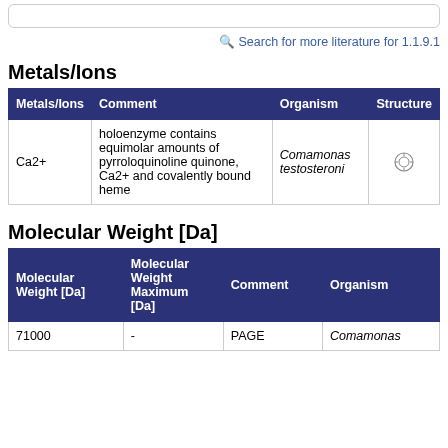Search for more literature for 1.1.9.1
Metals/Ions
| Metals/Ions | Comment | Organism | Structure |
| --- | --- | --- | --- |
| Ca2+ | holoenzyme contains equimolar amounts of pyrroloquinoline quinone, Ca2+ and covalently bound heme | Comamonas testosteroni |  |
Molecular Weight [Da]
| Molecular Weight [Da] | Molecular Weight Maximum [Da] | Comment | Organism |
| --- | --- | --- | --- |
| 71000 | - | PAGE | Comamonas |